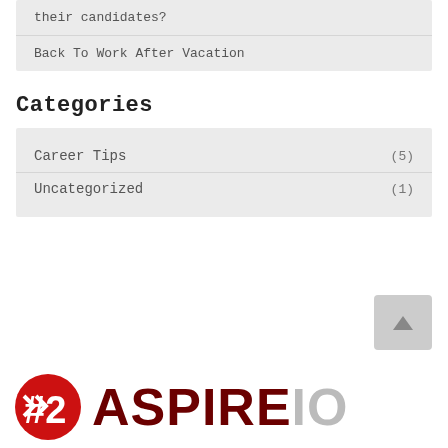their candidates?
Back To Work After Vacation
Categories
Career Tips (5)
Uncategorized (1)
[Figure (logo): AspireIQ logo with red circular icon and dark red ASPIRE text followed by grey IO text]